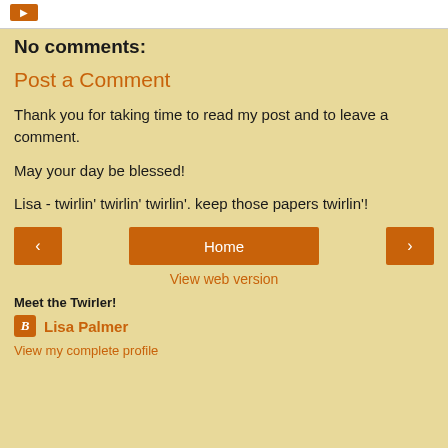No comments:
Post a Comment
Thank you for taking time to read my post and to leave a comment.
May your day be blessed!
Lisa - twirlin' twirlin' twirlin'. keep those papers twirlin'!
[Figure (other): Navigation buttons: left arrow, Home button, right arrow]
View web version
Meet the Twirler!
Lisa Palmer
View my complete profile